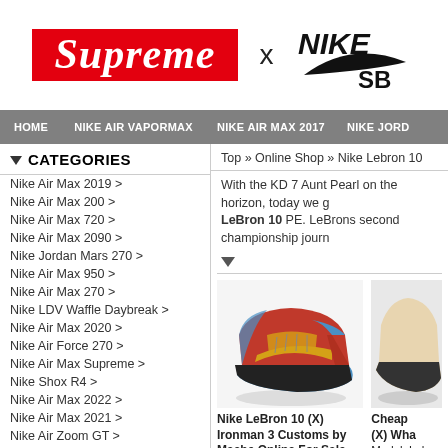[Figure (logo): Supreme x Nike SB header logo]
HOME   NIKE AIR VAPORMAX   NIKE AIR MAX 2017   NIKE JORD...
CATEGORIES
Nike Air Max 2019 >
Nike Air Max 200 >
Nike Air Max 720 >
Nike Air Max 2090 >
Nike Jordan Mars 270 >
Nike Air Max 950 >
Nike Air Max 270 >
Nike LDV Waffle Daybreak >
Nike Air Max 2020 >
Nike Air Force 270 >
Nike Air Max Supreme >
Nike Shox R4 >
Nike Air Max 2022 >
Nike Air Max 2021 >
Nike Air Zoom GT >
Nike Internationalist >
Nike Air Tuned Max >
Nike Fear Of God >
Nike Air Max 180 >
Top » Online Shop » Nike Lebron 10
With the KD 7 Aunt Pearl on the horizon, today we g... LeBron 10 PE. LeBrons second championship journ...
[Figure (photo): Nike LeBron 10 (X) Ironman 3 Customs by Mache sneaker photo]
Nike LeBron 10 (X) Ironman 3 Customs by Mache Online For Sale
Model: Cheap Lebrons,Cheap Lebron 10,Lebron X
Today: $ 79.09
Cheap... (X) Wha...
Model: Lebron
Today: